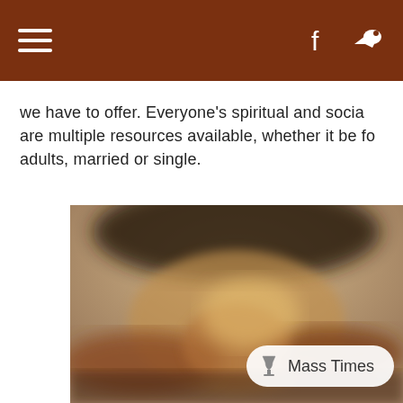[Navigation bar with hamburger menu, Facebook icon, and bird/logo icon]
we have to offer. Everyone's spiritual and social are multiple resources available, whether it be for adults, married or single.
[Figure (photo): Blurred close-up photo showing hands and a golden/warm-toned background with what appears to be a decorative element at the top, possibly a crown of thorns or similar religious imagery.]
Mass Times